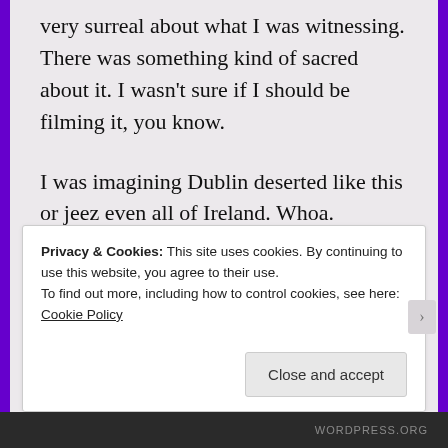very surreal about what I was witnessing. There was something kind of sacred about it. I wasn't sure if I should be filming it, you know.
I was imagining Dublin deserted like this or jeez even all of Ireland. Whoa. Imagine the Spire all deserted. I put a snap up on my Twitter teasing my upcoming blog post and within a few minutes I seen one of my mates Cian tweet,
Any ghosts around man?
Privacy & Cookies: This site uses cookies. By continuing to use this website, you agree to their use.
To find out more, including how to control cookies, see here: Cookie Policy